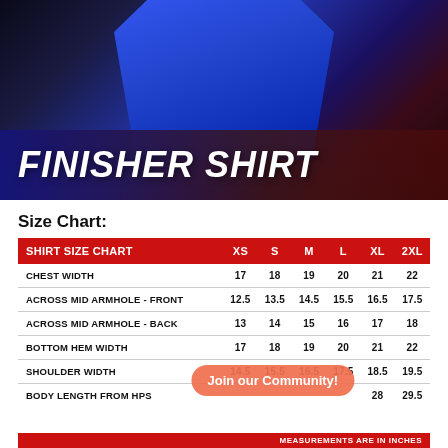[Figure (photo): Photo of a blue athletic shirt on dark background with text overlay 'FINISHER SHIRT']
FINISHER SHIRT
Size Chart:
| SHIRT SIZE CHART | XS | S | M | L | XL | 2XL |
| --- | --- | --- | --- | --- | --- | --- |
| CHEST WIDTH | 17 | 18 | 19 | 20 | 21 | 22 |
| ACROSS MID ARMHOLE - FRONT | 12.5 | 13.5 | 14.5 | 15.5 | 16.5 | 17.5 |
| ACROSS MID ARMHOLE - BACK | 13 | 14 | 15 | 16 | 17 | 18 |
| BOTTOM HEM WIDTH | 17 | 18 | 19 | 20 | 21 | 22 |
| SHOULDER WIDTH | 14.5 | 15.5 | 16.5 | 17.5 | 18.5 | 19.5 |
| BODY LENGTH FROM HPS |  |  |  |  | 28 | 29.5 |
MEASUREMENTS ARE IN INCHES